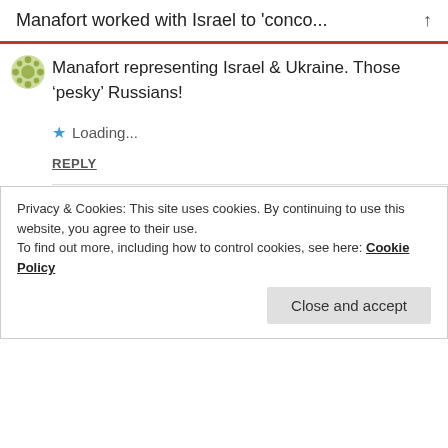Manafort worked with Israel to 'conco...
Manafort representing Israel & Ukraine. Those 'pesky' Russians!
Loading...
REPLY
Julie T  15/09/2018 AT 7:01 PM
The co-ordinated 'use' of anti-semitism as a political tool and keeps cropping up. Seems like
Privacy & Cookies: This site uses cookies. By continuing to use this website, you agree to their use.
To find out more, including how to control cookies, see here: Cookie Policy
Close and accept